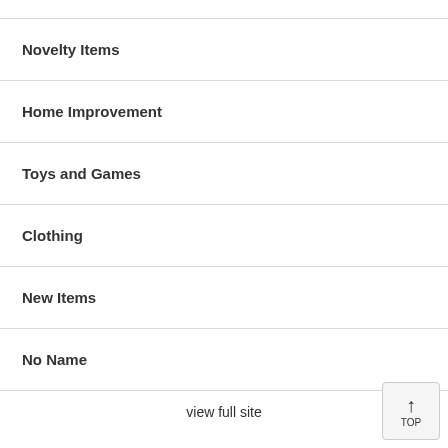Novelty Items
Home Improvement
Toys and Games
Clothing
New Items
No Name
view full site